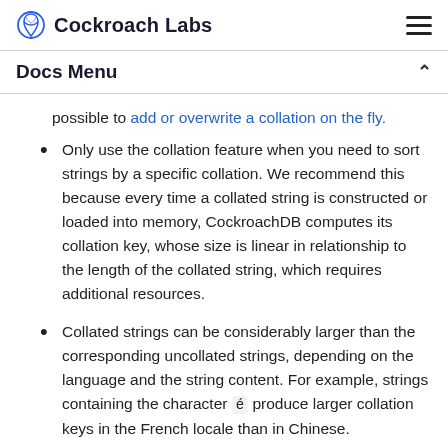Cockroach Labs
Docs Menu
possible to add or overwrite a collation on the fly.
Only use the collation feature when you need to sort strings by a specific collation. We recommend this because every time a collated string is constructed or loaded into memory, CockroachDB computes its collation key, whose size is linear in relationship to the length of the collated string, which requires additional resources.
Collated strings can be considerably larger than the corresponding uncollated strings, depending on the language and the string content. For example, strings containing the character é produce larger collation keys in the French locale than in Chinese.
Collated strings that are indexed require additional disk